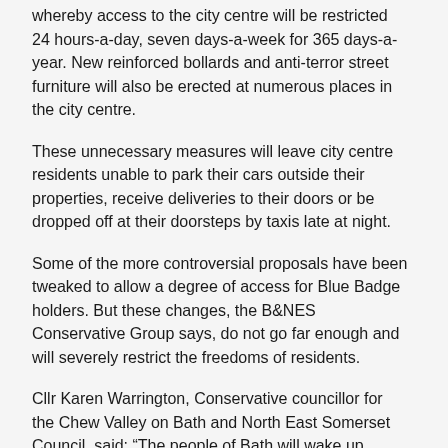whereby access to the city centre will be restricted 24 hours-a-day, seven days-a-week for 365 days-a-year. New reinforced bollards and anti-terror street furniture will also be erected at numerous places in the city centre.
These unnecessary measures will leave city centre residents unable to park their cars outside their properties, receive deliveries to their doors or be dropped off at their doorsteps by taxis late at night.
Some of the more controversial proposals have been tweaked to allow a degree of access for Blue Badge holders. But these changes, the B&NES Conservative Group says, do not go far enough and will severely restrict the freedoms of residents.
Cllr Karen Warrington, Conservative councillor for the Chew Valley on Bath and North East Somerset Council, said: “The people of Bath will wake up tomorrow morning in a city they no longer recognise. When these regulations come into force, this administration will have turned a